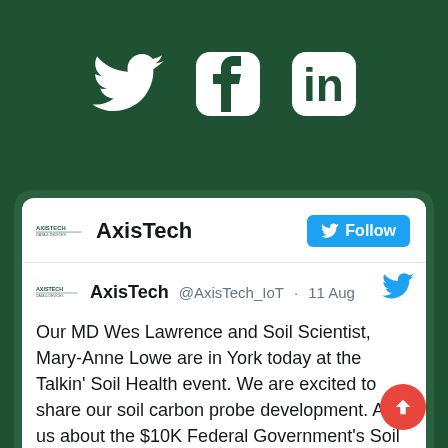[Figure (logo): Social media icons: Twitter bird, Facebook F in rounded square, LinkedIn in in rounded square, all white on dark green background]
[Figure (screenshot): Twitter/social media card showing AxisTech profile with Follow button and a tweet from @AxisTech_IoT dated 11 Aug about MD Wes Lawrence and Soil Scientist Mary-Anne Lowe at Talkin' Soil Health event in York, discussing soil carbon probe development and $10K Federal Government's Soil Data Capture Program with hashtags #agtech #agtechframework #soil]